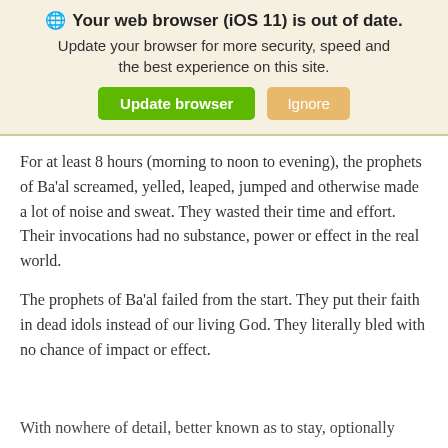[Figure (screenshot): Browser update banner with globe icon, title 'Your web browser (iOS 11) is out of date.', subtitle text, and two buttons: 'Update browser' (green) and 'Ignore' (tan/orange)]
For at least 8 hours (morning to noon to evening), the prophets of Ba’al screamed, yelled, leaped, jumped and otherwise made a lot of noise and sweat. They wasted their time and effort. Their invocations had no substance, power or effect in the real world.
The prophets of Ba’al failed from the start. They put their faith in dead idols instead of our living God. They literally bled with no chance of impact or effect.
With nowhere of detail, better known as to stay, optionally